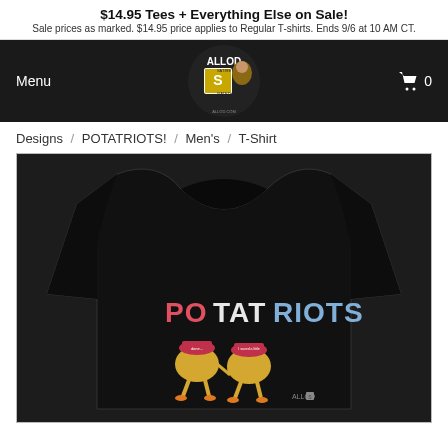$14.95 Tees + Everything Else on Sale! Sale prices as marked. $14.95 price applies to Regular T-shirts. Ends 9/6 at 10 AM CT.
Menu | ALLOD Satire Logo | Cart 0
Designs / POTATRIOTS! / Men's / T-Shirt
[Figure (photo): Black T-shirt featuring POTATRIOTS design with two potato characters wearing red MAGA-style hats and colorful text reading POTATRIOTS]